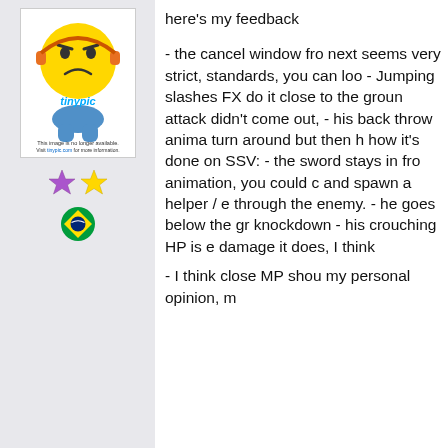[Figure (illustration): Tinypic placeholder image showing an angry/sad yellow smiley face with orange headphones, with text 'This image is no longer available. Visit tinypic.com for more information.']
[Figure (illustration): Two star emoji icons: a purple/pink star and a yellow star]
[Figure (illustration): Brazilian flag emoji/icon]
here's my feedback

- the cancel window fro next seems very strict, standards, you can loo - Jumping slashes FX do it close to the groun attack didn't come out, - his back throw anima turn around but then h how it's done on SSV: - the sword stays in fro animation, you could c and spawn a helper / e through the enemy. - he goes below the gr knockdown - his crouching HP is e damage it does, I think

- I think close MP shou my personal opinion, m